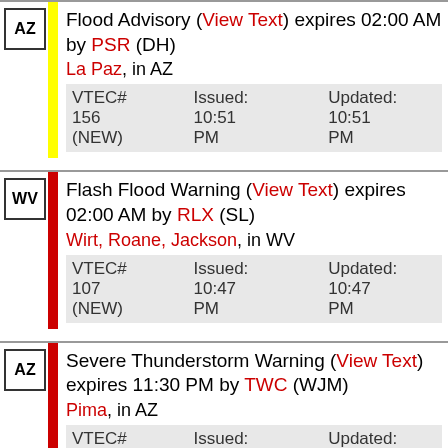| State | Alert | Details |
| --- | --- | --- |
| AZ | Flood Advisory (View Text) expires 02:00 AM by PSR (DH) | La Paz, in AZ | VTEC# 156 (NEW) | Issued: 10:51 PM | Updated: 10:51 PM |
| WV | Flash Flood Warning (View Text) expires 02:00 AM by RLX (SL) | Wirt, Roane, Jackson, in WV | VTEC# 107 (NEW) | Issued: 10:47 PM | Updated: 10:47 PM |
| AZ | Severe Thunderstorm Warning (View Text) expires 11:30 PM by TWC (WJM) | Pima, in AZ | VTEC# 163 (NEW) | Issued: 10:46 PM | Updated: 10:46 PM |